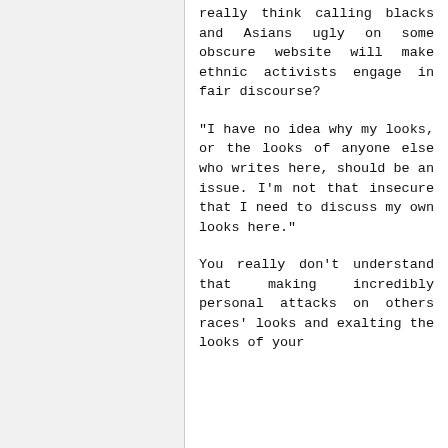really think calling blacks and Asians ugly on some obscure website will make ethnic activists engage in fair discourse?
"I have no idea why my looks, or the looks of anyone else who writes here, should be an issue. I'm not that insecure that I need to discuss my own looks here."
You really don't understand that making incredibly personal attacks on others races' looks and exalting the looks of your